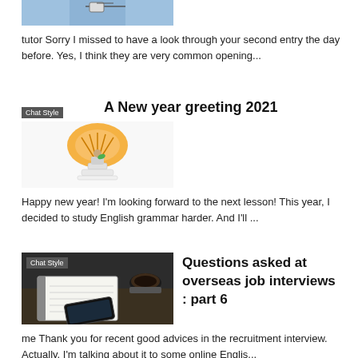[Figure (photo): Partial cropped image at top of page, showing a person and a diagram/whiteboard with blue tones]
tutor Sorry I missed to have a look through your second entry the day before. Yes, I think they are very common opening...
Chat Style
A New year greeting 2021
[Figure (photo): Image of a decorative New Year arrangement with an orange fan and small figurine on a white base]
Happy new year! I'm looking forward to the next lesson! This year, I decided to study English grammar harder. And I'll ...
Chat Style
Questions asked at overseas job interviews : part 6
[Figure (photo): Dark-toned photo of a notebook, coffee cup, and smartphone on a table]
me Thank you for recent good advices in the recruitment interview. Actually, I'm talking about it to some online Englis...